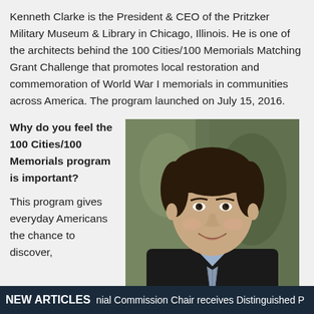Kenneth Clarke is the President & CEO of the Pritzker Military Museum & Library in Chicago, Illinois. He is one of the architects behind the 100 Cities/100 Memorials Matching Grant Challenge that promotes local restoration and commemoration of World War I memorials in communities across America. The program launched on July 15, 2016.
Why do you feel the 100 Cities/100 Memorials program is important?
[Figure (photo): Professional headshot of Kenneth Clarke, a man in a dark suit with a striped tie, smiling, with a painted background]
Kenneth Clarke
This program gives everyday Americans the chance to discover,
NEW ARTICLES   nial Commission Chair receives Distinguished P